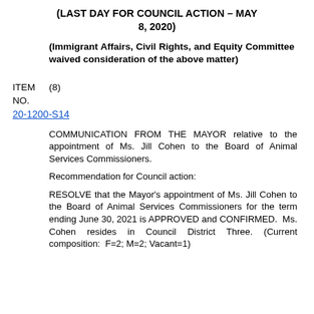(LAST DAY FOR COUNCIL ACTION – MAY 8, 2020)
(Immigrant Affairs, Civil Rights, and Equity Committee waived consideration of the above matter)
ITEM NO. (8)
20-1200-S14
COMMUNICATION FROM THE MAYOR relative to the appointment of Ms. Jill Cohen to the Board of Animal Services Commissioners.
Recommendation for Council action:
RESOLVE that the Mayor's appointment of Ms. Jill Cohen to the Board of Animal Services Commissioners for the term ending June 30, 2021 is APPROVED and CONFIRMED. Ms. Cohen resides in Council District Three. (Current composition: F=2; M=2; Vacant=1)